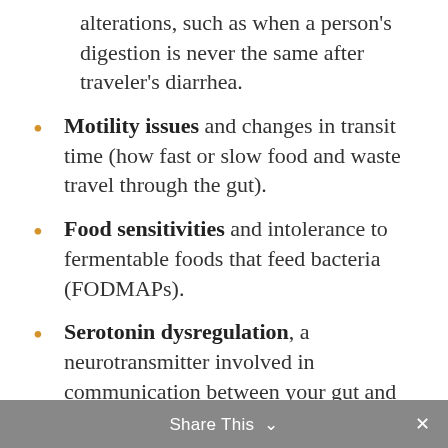alterations, such as when a person's digestion is never the same after traveler's diarrhea.
Motility issues and changes in transit time (how fast or slow food and waste travel through the gut).
Food sensitivities and intolerance to fermentable foods that feed bacteria (FODMAPs).
Serotonin dysregulation, a neurotransmitter involved in communication between your gut and your brain.
Share This ∨  ✕